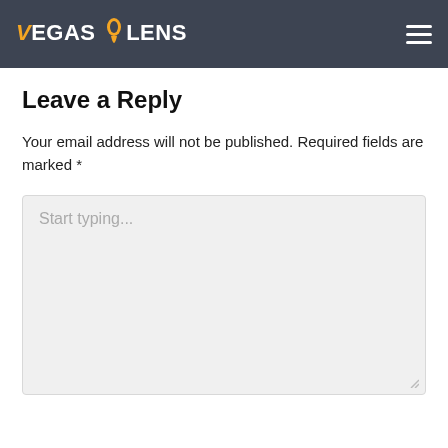VEGAS LENS
Leave a Reply
Your email address will not be published. Required fields are marked *
[Figure (screenshot): A large text input area with placeholder text 'Start typing...' on a light gray background with a resize handle at the bottom right.]